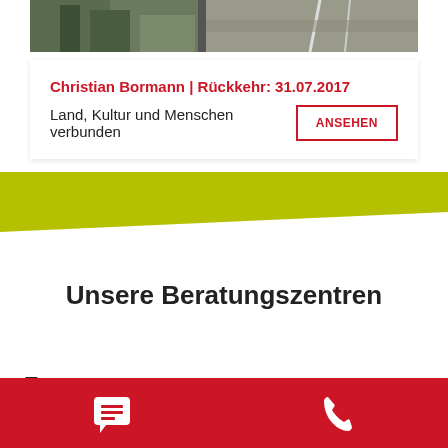[Figure (photo): Top photo strip showing outdoor scene with road/landscape]
Christian Bormann | Rückkehr: 31.07.2017
Land, Kultur und Menschen verbunden
ANSEHEN
[Figure (illustration): Lime green diagonal background section]
Unsere Beratungszentren
Essen
[Figure (illustration): Red footer bar with chat and phone icons]